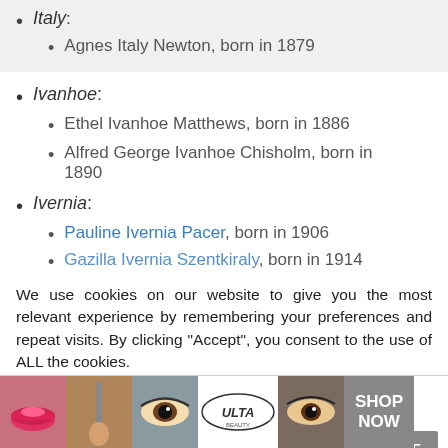Italy:
Agnes Italy Newton, born in 1879
Ivanhoe:
Ethel Ivanhoe Matthews, born in 1886
Alfred George Ivanhoe Chisholm, born in 1890
Ivernia:
Pauline Ivernia Pacer, born in 1906
Gazilla Ivernia Szentkiraly, born in 1914
We use cookies on our website to give you the most relevant experience by remembering your preferences and repeat visits. By clicking “Accept”, you consent to the use of ALL the cookies.
Do not sell my personal information.
[Figure (other): Advertisement banner for ULTA beauty with photos of makeup looks and SHOP NOW button]